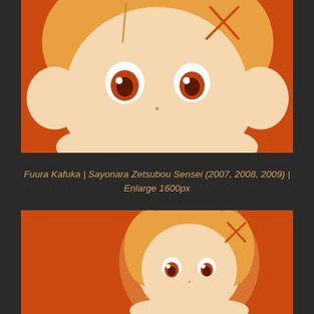[Figure (illustration): Close-up anime illustration of Fuura Kafuka character from Sayonara Zetsubou Sensei. Orange/red background, chibi-style face with large brown eyes, light blonde/orange hair with crossed hair pins, pale peach skin tone, hands visible at bottom.]
Fuura Kafuka | Sayonara Zetsubou Sensei (2007, 2008, 2009) | Enlarge 1600px
[Figure (illustration): Wider shot anime illustration of the same Fuura Kafuka character from Sayonara Zetsubou Sensei. Orange/red background with glowing circular halo effect behind the character, chibi-style full head visible with large brown eyes, light hair with crossed hair pins, smaller scale showing more of the character's upper body.]